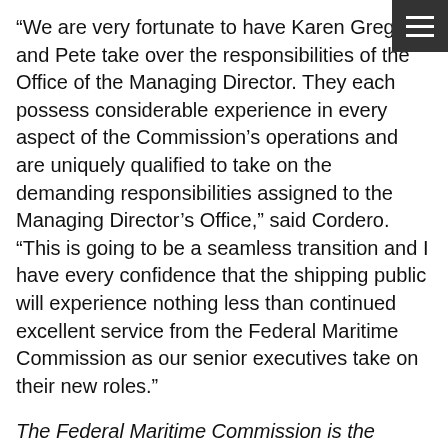“We are very fortunate to have Karen Gregory and Peter take over the responsibilities of the Office of the Managing Director. They each possess considerable experience in every aspect of the Commission’s operations and are uniquely qualified to take on the demanding responsibilities assigned to the Managing Director’s Office,” said Cordero. “This is going to be a seamless transition and I have every confidence that the shipping public will experience nothing less than continued excellent service from the Federal Maritime Commission as our senior executives take on their new roles.”
The Federal Maritime Commission is the federal agency responsible for regulating the nation’s international ocean transportation for the benefit of exporters, importers, and the American consumer. The FMC’s mission is to foster a fair, efficient, and reliable international ocean transportation system while protecting the public from unfair and deceptive practices.